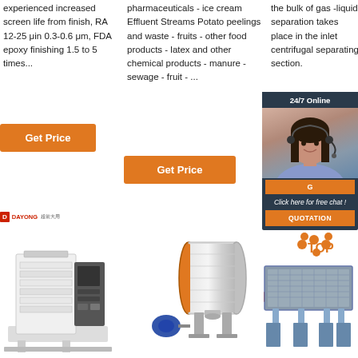experienced increased screen life from finish, RA 12-25 μin 0.3-0.6 μm, FDA epoxy finishing 1.5 to 5 times...
[Figure (other): Orange 'Get Price' button]
pharmaceuticals - ice cream Effluent Streams Potato peelings and waste - fruits - other food products - latex and other chemical products - manure - sewage - fruit - ...
[Figure (other): Orange 'Get Price' button]
the bulk of gas -liquid separation takes place in the inlet centrifugal separating section.
[Figure (photo): 24/7 Online chat widget with woman wearing headset, Dayong branding, Click here for free chat, QUOTATION button]
[Figure (other): Dayong logo]
[Figure (photo): Dayong industrial sieve/vibration machine product image]
[Figure (photo): Industrial horizontal drum/centrifuge machine product image]
[Figure (photo): Industrial linear vibrating screen product image with TOP label]